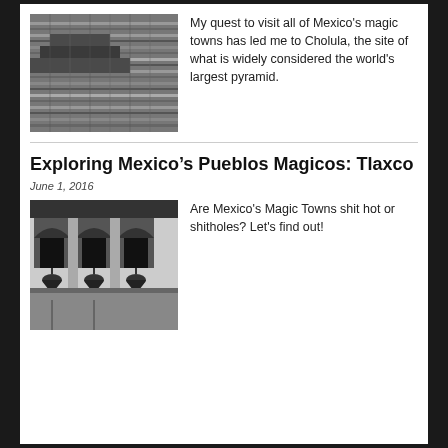[Figure (photo): Black and white photo of ancient stone pyramid/ruins with layered stonework]
My quest to visit all of Mexico's magic towns has led me to Cholula, the site of what is widely considered the world's largest pyramid.
Exploring Mexico’s Pueblos Magicos: Tlaxco
June 1, 2016
[Figure (photo): Black and white photo of church bell tower with arched openings and hanging bells]
Are Mexico's Magic Towns shit hot or shitholes? Let's find out!